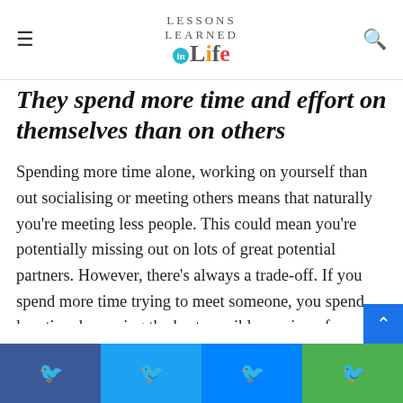Lessons Learned in Life
They spend more time and effort on themselves than on others
Spending more time alone, working on yourself than out socialising or meeting others means that naturally you're meeting less people. This could mean you're potentially missing out on lots of great potential partners. However, there's always a trade-off. If you spend more time trying to meet someone, you spend less time becoming the best possible version of yourself. It's all about finding the right balance for you